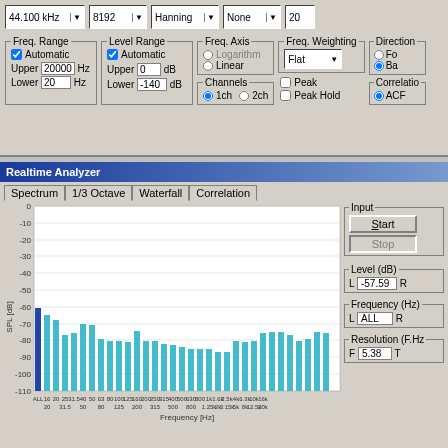[Figure (screenshot): Top portion of Realtime Analyzer software settings panel showing dropdowns for sample rate (44.100 kHz), FFT size (8192), window function (Hanning), and weighting (None). Also shows group boxes for Freq. Range (Automatic), Level Range (Automatic), Freq. Axis (Logarithm/Linear radio), Channels (1ch/2ch), Freq. Weighting (Flat), Peak/Peak Hold checkboxes, Direction and Correlation options.]
[Figure (bar-chart): Realtime Analyzer - 1/3 Octave Spectrum]